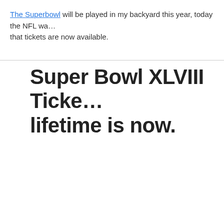The Superbowl will be played in my backyard this year, today the NFL was… that tickets are now available.
Super Bowl XLVIII Ticke… lifetime is now.
[Figure (screenshot): Email client screenshot showing an email from Ticketmaster (newsletter@reply.ticke…) received Today, 6:42PM, addressed To: MITCH. The sender avatar is a green square with a white T.]